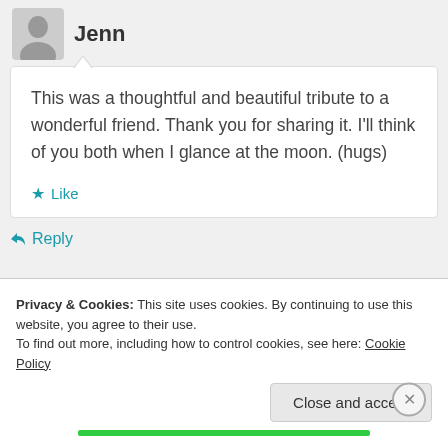Jenn
This was a thoughtful and beautiful tribute to a wonderful friend. Thank you for sharing it. I'll think of you both when I glance at the moon. (hugs)
Like
Reply
Privacy & Cookies: This site uses cookies. By continuing to use this website, you agree to their use.
To find out more, including how to control cookies, see here: Cookie Policy
Close and accept